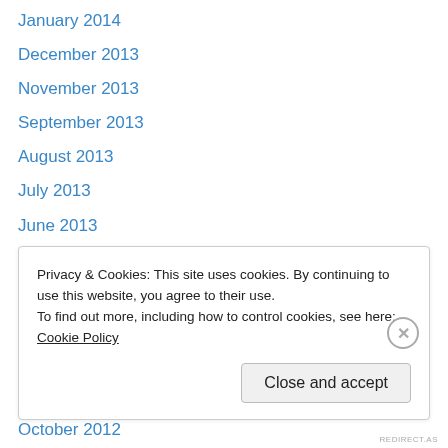January 2014
December 2013
November 2013
September 2013
August 2013
July 2013
June 2013
March 2013
February 2013
January 2013
December 2012
November 2012
October 2012
Privacy & Cookies: This site uses cookies. By continuing to use this website, you agree to their use.
To find out more, including how to control cookies, see here: Cookie Policy
REDIRECT.AS